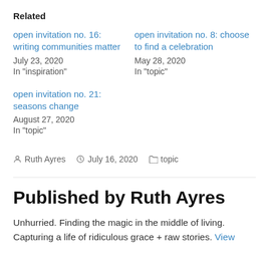Related
open invitation no. 16: writing communities matter
July 23, 2020
In "inspiration"
open invitation no. 8: choose to find a celebration
May 28, 2020
In "topic"
open invitation no. 21: seasons change
August 27, 2020
In "topic"
Ruth Ayres   July 16, 2020   topic
Published by Ruth Ayres
Unhurried. Finding the magic in the middle of living. Capturing a life of ridiculous grace + raw stories. View